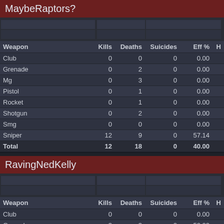MaybeRaptors?
| Weapon | Kills | Deaths | Suicides | Eff % | H |
| --- | --- | --- | --- | --- | --- |
| Club | 0 | 0 | 0 | 0.00 |  |
| Grenade | 0 | 2 | 0 | 0.00 |  |
| Mg | 0 | 3 | 0 | 0.00 |  |
| Pistol | 0 | 1 | 0 | 0.00 |  |
| Rocket | 0 | 1 | 0 | 0.00 |  |
| Shotgun | 0 | 2 | 0 | 0.00 |  |
| Smg | 0 | 0 | 0 | 0.00 |  |
| Sniper | 12 | 9 | 0 | 57.14 |  |
| Total | 12 | 18 | 0 | 40.00 |  |
RavingNedKelly
| Weapon | Kills | Deaths | Suicides | Eff % | H |
| --- | --- | --- | --- | --- | --- |
| Club | 0 | 0 | 0 | 0.00 |  |
| Grenade | 3 | 3 | 0 | 50.00 |  |
| Mg | 19 | 1 | 0 | 95.00 |  |
| Pistol | 0 | 0 | 0 | 0.00 |  |
| Rocket | 0 | 2 | 0 | 0.00 |  |
| Shotgun | 0 | 2 | 0 | 0.00 |  |
| Smg | 0 | 0 | 0 | 0.00 |  |